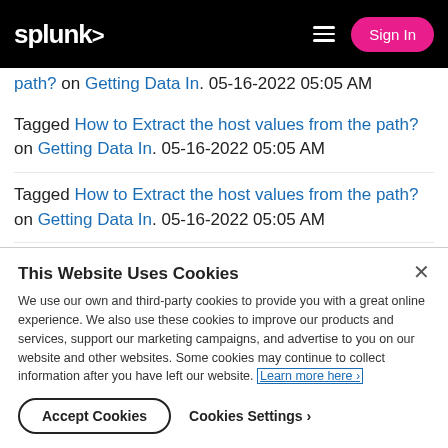splunk> | Sign In
Tagged How to Extract the host values from the path? on Getting Data In. 05-16-2022 05:05 AM
Tagged How to Extract the host values from the path? on Getting Data In. 05-16-2022 05:05 AM
Tagged How to Extract the host values from the path? on Getting Data In. 05-16-2022 05:05 AM
This Website Uses Cookies
We use our own and third-party cookies to provide you with a great online experience. We also use these cookies to improve our products and services, support our marketing campaigns, and advertise to you on our website and other websites. Some cookies may continue to collect information after you have left our website. Learn more here ›
Accept Cookies   Cookies Settings ›